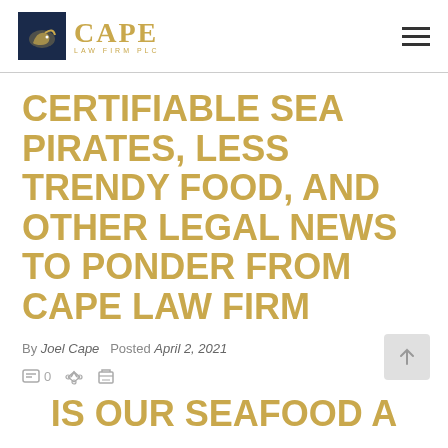CAPE LAW FIRM PLC
CERTIFIABLE SEA PIRATES, LESS TRENDY FOOD, AND OTHER LEGAL NEWS TO PONDER FROM CAPE LAW FIRM
By Joel Cape  Posted April 2, 2021
0 comments, share, print
IS OUR SEAFOOD A